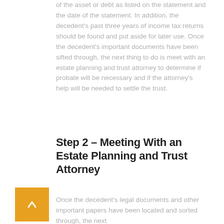of the asset or debt as listed on the statement and the date of the statement. In addition, the decedent's past three years of income tax returns should be found and put aside for later use. Once the decedent's important documents have been sifted through, the next thing to do is meet with an estate planning and trust attorney to determine if probate will be necessary and if the attorney's help will be needed to settle the trust.
Step 2 – Meeting With an Estate Planning and Trust Attorney
Once the decedent's legal documents and other important papers have been located and sorted through, the next